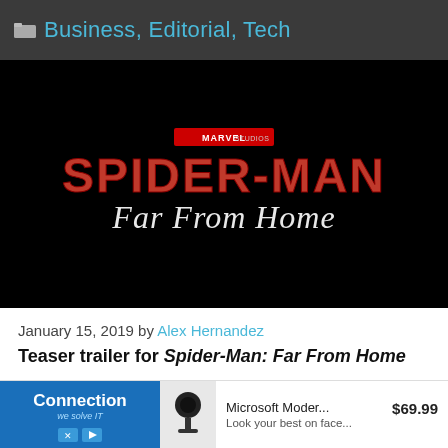Business, Editorial, Tech
[Figure (photo): Spider-Man: Far From Home movie title card on black background with Marvel Studios logo above]
January 15, 2019 by Alex Hernandez
Teaser trailer for Spider-Man: Far From Home
[Figure (other): Advertisement: Connection 'we solve IT' logo on blue background, Microsoft Modern webcam product image, price $69.99, tagline 'Look your best on face...']